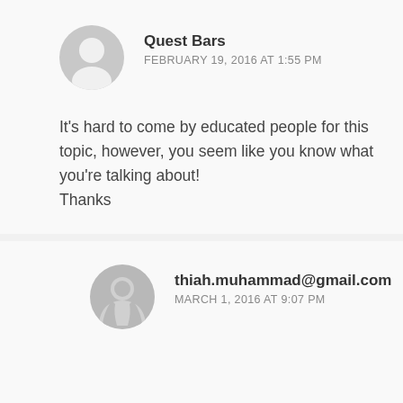Quest Bars
FEBRUARY 19, 2016 AT 1:55 PM
It's hard to come by educated people for this topic, however, you seem like you know what you're talking about!
Thanks
thiah.muhammad@gmail.com
MARCH 1, 2016 AT 9:07 PM